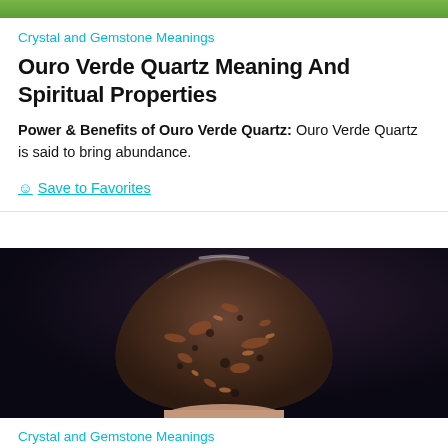[Figure (photo): Green nature/plant photo strip at top of page]
Crystal and Gemstone Meanings
Ouro Verde Quartz Meaning And Spiritual Properties
Power & Benefits of Ouro Verde Quartz: Ouro Verde Quartz is said to bring abundance.
☺ Save to Favorites
[Figure (photo): Close-up photo of an Ouro Verde Quartz crystal specimen — a dark teardrop/egg-shaped stone with reddish-brown mineral inclusions, held against a dark background]
Crystal and Gemstone Meanings